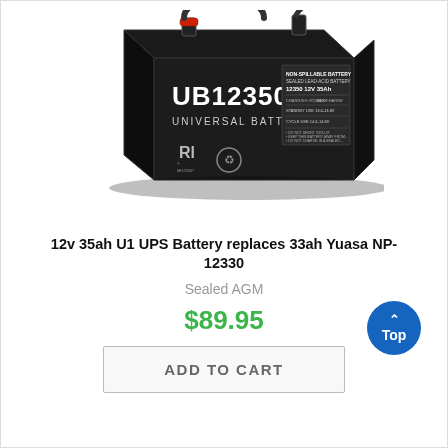[Figure (photo): Black UB12350 Universal Battery, a sealed lead-acid AGM battery, 12V 35Ah, photographed at an angle showing the front and right side labels, with carrying handles on top.]
12v 35ah U1 UPS Battery replaces 33ah Yuasa NP-12330
Sealed AGM
$89.95
ADD TO CART